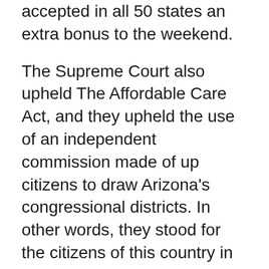accepted in all 50 states an extra bonus to the weekend.
The Supreme Court also upheld The Affordable Care Act, and they upheld the use of an independent commission made of up citizens to draw Arizona's congressional districts. In other words, they stood for the citizens of this country in three different ways. Hurray! It's another few steps in the right direction.
Though I was very happy about all the decisions, the one that surprised and delighted me the most, because I didn't think it would happen, was the one that upheld the rights of THE PEOPLE of my state of Arizona to decide how to to organize the voting districts. The politicians have to stay